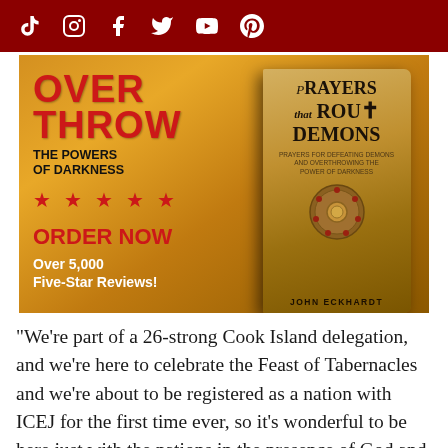Social media icons: TikTok, Instagram, Facebook, Twitter, YouTube, Pinterest
[Figure (illustration): Book advertisement for 'Prayers that Rout Demons' by John Eckhardt. Left side shows text: OVERTHROW THE POWERS OF DARKNESS, five red stars, ORDER NOW, Over 5,000 Five-Star Reviews! Right side shows the book cover. Background is golden/amber colored.]
"We're part of a 26-strong Cook Island delegation, and we're here to celebrate the Feast of Tabernacles and we're about to be registered as a nation with ICEJ for the first time ever, so it's wonderful to be here just with the nations in the presence of God and worshipping together." Reading ahead